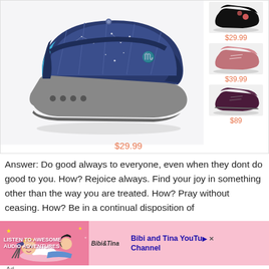[Figure (photo): Navy blue slip-on shoe with constellation/star pattern on upper, blue interior lining, gray sole with four circular dots on side. Main product image.]
$29.99
[Figure (photo): Thumbnail: black slip-on shoe with floral pattern]
$29.99
[Figure (photo): Thumbnail: pink/mauve walking shoe with laces]
$39.99
[Figure (photo): Thumbnail: dark burgundy/navy lace-up athletic shoe]
$89
Answer: Do good always to everyone, even when they dont do good to you. How? Rejoice always. Find your joy in something other than the way you are treated. How? Pray without ceasing. How? Be in a continual disposition of
[Figure (illustration): Ad banner: Bibi and Tina audio adventures advertisement with animated girls illustration on pink background]
Ad